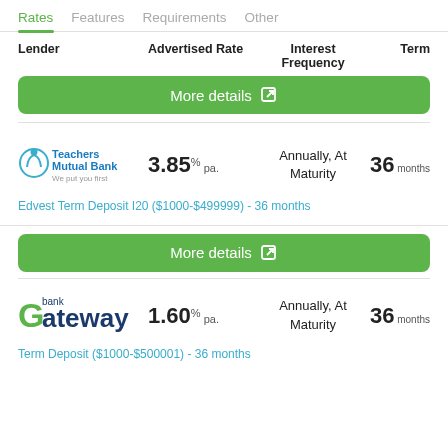Rates  Features  Requirements  Other
| Lender | Advertised Rate | Interest Frequency | Term |
| --- | --- | --- | --- |
| Teachers Mutual Bank | 3.85% pa. | Annually, At Maturity | 36 months |
| Gateway bank | 1.60% pa. | Annually, At Maturity | 36 months |
Edvest Term Deposit I20 ($1000-$499999) - 36 months
Term Deposit ($1000-$500001) - 36 months